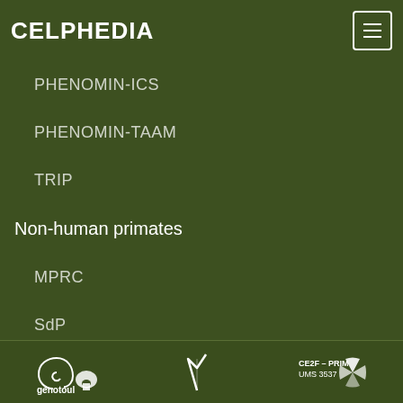CELPHEDIA
PHENOMIN-ICS
PHENOMIN-TAAM
TRIP
Non-human primates
MPRC
SdP
SILABE
Website information
genotoul | [logo] | CE2F – PRIM UMS 3537